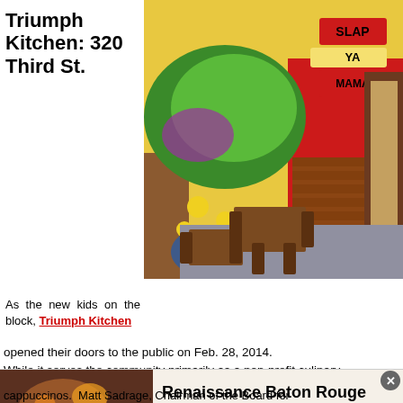Triumph Kitchen: 320 Third St.
[Figure (photo): Interior of Triumph Kitchen restaurant showing colorful graffiti mural on wall with text 'SLAP YA MAMA', brick wall lower half, wooden tables and chairs]
As the new kids on the block, Triumph Kitchen opened their doors to the public on Feb. 28, 2014. While it serves the community primarily as a non-profit culinary
[Figure (photo): Renaissance Baton Rouge Hotel interior advertisement photo showing warm restaurant/lounge setting]
Renaissance Baton Rouge Hotel—Four Diamond Splendor
learn more→
cappuccinos. Matt Sadrage, Chairman of the Board for